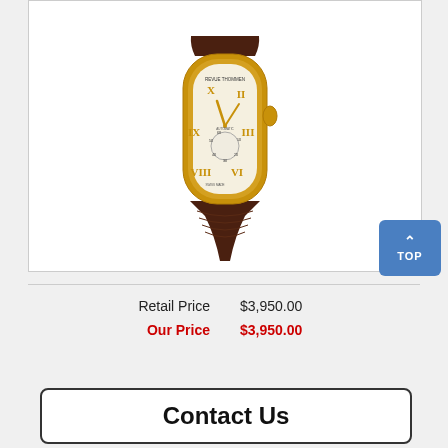[Figure (photo): Revue Thommen luxury watch with gold-tone tonneau-shaped case, white dial with Roman numerals, gold hands, subsidiary seconds dial, and brown crocodile-pattern leather strap]
Retail Price   $3,950.00
Our Price   $3,950.00
Contact Us